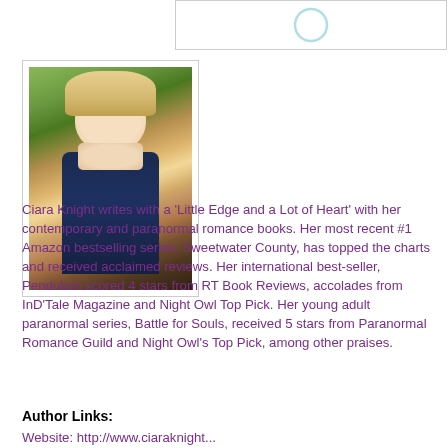[Figure (other): Partial view of a header/banner element with a circular logo or icon, partially visible at top]
[Figure (photo): Author photo of Ciara Knight, a blonde woman smiling, wearing a dark navy cardigan and necklace, photographed outdoors in front of a tree]
Ciara Knight writes with a 'Little Edge and a Lot of Heart' with her contemporary and paranormal romance books. Her most recent #1 Amazon bestselling series, Sweetwater County, has topped the charts and received acclaimed reviews. Her international best-seller, Pendulum scored 4 stars from RT Book Reviews, accolades from InD'Tale Magazine and Night Owl Top Pick. Her young adult paranormal series, Battle for Souls, received 5 stars from Paranormal Romance Guild and Night Owl's Top Pick, among other praises.
Author Links:
Website: http://www.ciaraknight...